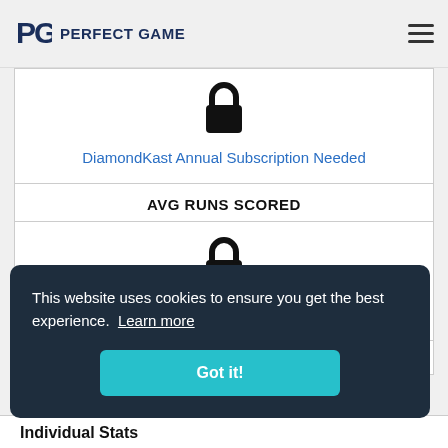PERFECT GAME
[Figure (other): Lock icon indicating locked/premium content]
DiamondKast Annual Subscription Needed
AVG RUNS SCORED
[Figure (other): Lock icon indicating locked/premium content]
DiamondKast Annual Subscription Needed
AVG RUNS ALLOWED
Individual Stats
This website uses cookies to ensure you get the best experience. Learn more
Got it!